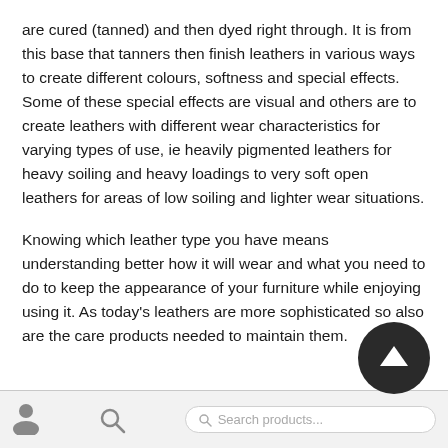are cured (tanned) and then dyed right through. It is from this base that tanners then finish leathers in various ways to create different colours, softness and special effects. Some of these special effects are visual and others are to create leathers with different wear characteristics for varying types of use, ie heavily pigmented leathers for heavy soiling and heavy loadings to very soft open leathers for areas of low soiling and lighter wear situations.
Knowing which leather type you have means understanding better how it will wear and what you need to do to keep the appearance of your furniture while enjoying using it. As today's leathers are more sophisticated so also are the care products needed to maintain them.
Search products...